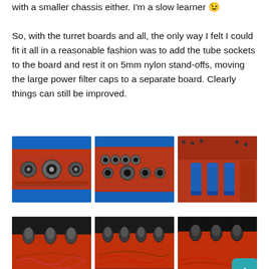with a smaller chassis either. I'm a slow learner 😉
So, with the turret boards and all, the only way I felt I could fit it all in a reasonable fashion was to add the tube sockets to the board and rest it on 5mm nylon stand-offs, moving the large power filter caps to a separate board. Clearly things can still be improved.
[Figure (photo): Red circuit board with tube sockets mounted, blue background]
[Figure (photo): Red circuit board with multiple tube sockets and components, blue background]
[Figure (photo): Red circuit board with blue cylindrical capacitors mounted]
[Figure (photo): Assembled amplifier circuit with tubes and wiring on red board]
[Figure (photo): Amplifier circuit with tubes and components, wired assembly]
[Figure (photo): Close-up of amplifier circuit with tubes and dense wiring]